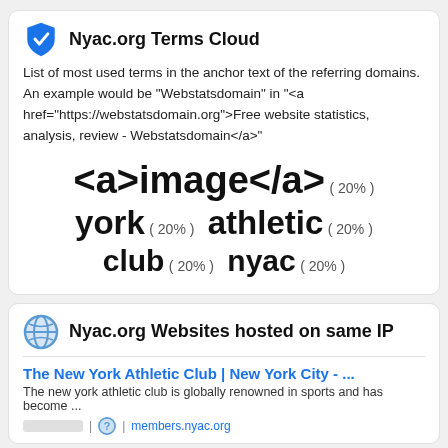Nyac.org Terms Cloud
List of most used terms in the anchor text of the referring domains. An example would be "Webstatsdomain" in "<a href="https://webstatsdomain.org">Free website statistics, analysis, review - Webstatsdomain</a>"
[Figure (infographic): Word cloud showing: <a>image</a> (20%), york (20%), athletic (20%), club (20%), nyac (20%)]
Nyac.org Websites hosted on same IP
The New York Athletic Club | New York City - ...
The new york athletic club is globally renowned in sports and has become ...
members.nyac.org